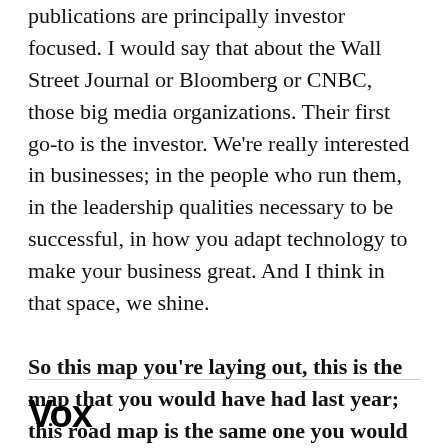publications are principally investor focused. I would say that about the Wall Street Journal or Bloomberg or CNBC, those big media organizations. Their first go-to is the investor. We're really interested in businesses; in the people who run them, in the leadership qualities necessary to be successful, in how you adapt technology to make your business great. And I think in that space, we shine.
So this map you're laying out, this is the map that you would have had last year; this road map is the same one you would have had last year prior to the acquisition. Is anything changing because you
Vox